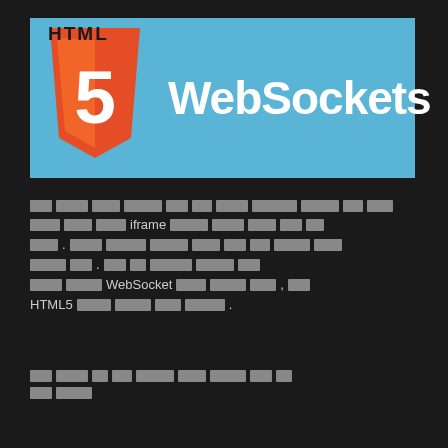[Figure (logo): HTML5 logo (orange shield with white '5') on a blue banner with the text 'WebSockets' in white bold font]
[redacted text paragraph about iframe and WebSocket, HTML5]
[redacted text paragraph continued]